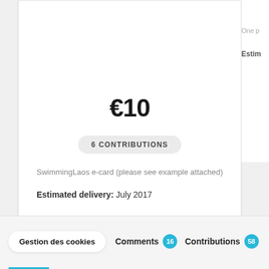One p
Estim
€10
6 CONTRIBUTIONS
SwimmingLaos e-card (please see example attached)
Estimated delivery: July 2017
Gestion des cookies
Comments 16
Contributions 58